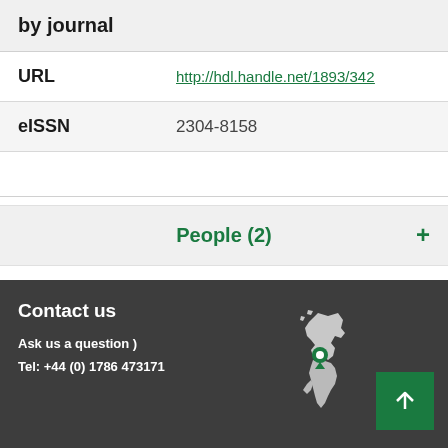| by journal |  |
| URL | http://hdl.handle.net/1893/342... |
| eISSN | 2304-8158 |
People (2)
Contact us
Ask us a question )
Tel: +44 (0) 1786 473171
[Figure (map): Map of UK/Scotland with green location pin marker]